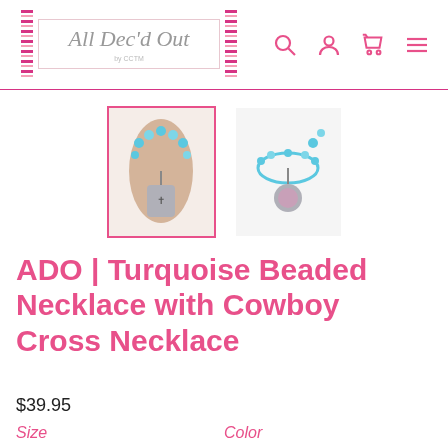[Figure (logo): All Dec'd Out store logo with pink decorative stripes on left and right sides, italic script text]
[Figure (photo): Two product thumbnail images of a turquoise beaded necklace with cowboy cross pendant. Left image selected (pink border), right image shows top-down view.]
ADO | Turquoise Beaded Necklace with Cowboy Cross Necklace
$39.95
Size
Color